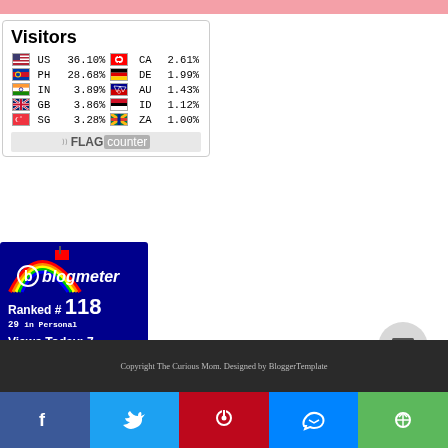[Figure (infographic): Flag counter widget showing visitor percentages by country: US 36.10%, CA 2.61%, PH 28.68%, DE 1.99%, IN 3.89%, AU 1.43%, GB 3.86%, ID 1.12%, SG 3.28%, ZA 1.00%]
[Figure (infographic): Blogmeter widget on dark blue background showing Ranked #118, 29 in Personal, Views Today: 7, CHECK AND VISIT button]
Copyright The Curious Mom. Designed by BloggerTemplate
[Figure (infographic): Social share bar with Facebook, Twitter, Pinterest, Messenger, and Share buttons]